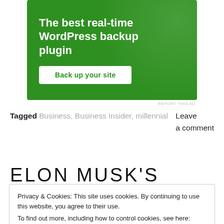[Figure (other): Green advertisement banner for a WordPress backup plugin. Text reads 'The best real-time WordPress backup plugin' with a button 'Back up your site']
REPORT THIS AD
Tagged Business, Business Insider, millennial    Leave a comment
ELON MUSK'S TESLA
Privacy & Cookies: This site uses cookies. By continuing to use this website, you agree to their use.
To find out more, including how to control cookies, see here: Cookie Policy
Close and accept
Watch what the new mass-market electric car can do in